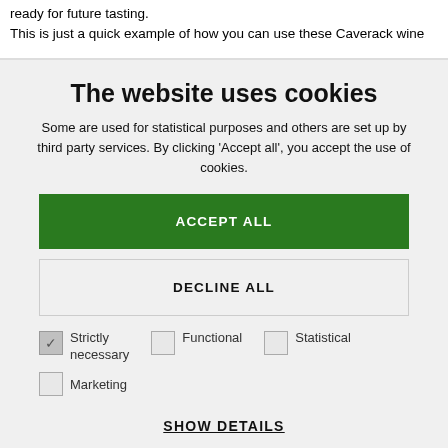ready for future tasting.
This is just a quick example of how you can use these Caverack wine
The website uses cookies
Some are used for statistical purposes and others are set up by third party services. By clicking 'Accept all', you accept the use of cookies.
ACCEPT ALL
DECLINE ALL
Strictly necessary
Functional
Statistical
Marketing
SHOW DETAILS